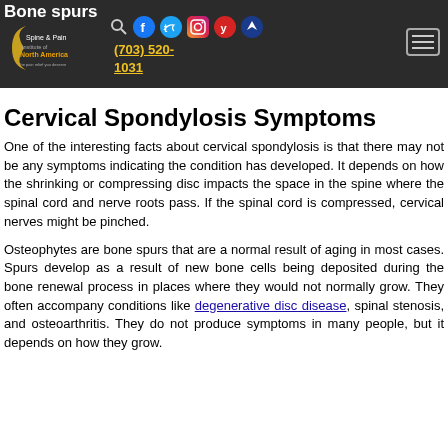Bone spurs — Spine & Pain Institute of North America, (703) 520-1031
Cervical Spondylosis Symptoms
One of the interesting facts about cervical spondylosis is that there may not be any symptoms indicating the condition has developed. It depends on how the shrinking or compressing disc impacts the space in the spine where the spinal cord and nerve roots pass. If the spinal cord is compressed, cervical nerves might be pinched.
Osteophytes are bone spurs that are a normal result of aging in most cases. Spurs develop as a result of new bone cells being deposited during the bone renewal process in places where they would not normally grow. They often accompany conditions like degenerative disc disease, spinal stenosis, and osteoarthritis. They do not produce symptoms in many people, but it depends on how they grow.